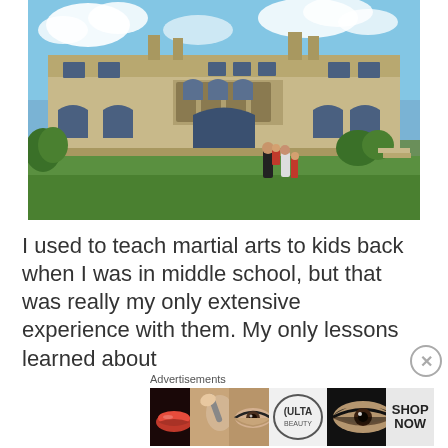[Figure (photo): A large Gilded Age mansion (appears to be The Breakers in Newport, RI) with a green lawn in the foreground. A family of four — an adult man holding a small child in red, a woman, and a child — stand on the lawn in front of the ornate stone facade under a partly cloudy blue sky.]
I used to teach martial arts to kids back when I was in middle school, but that was really my only extensive experience with them. My only lessons learned about
[Figure (advertisement): Ulta Beauty advertisement banner showing close-up beauty images (lips with red lipstick, makeup brush, eye with makeup) alongside the Ulta Beauty logo and 'SHOP NOW' call to action.]